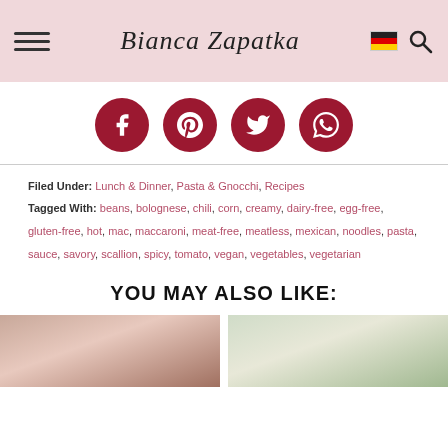Bianca Zapatka
[Figure (illustration): Social media share buttons: Facebook, Pinterest, Twitter, WhatsApp — dark red circles with white icons]
Filed Under: Lunch & Dinner, Pasta & Gnocchi, Recipes
Tagged With: beans, bolognese, chili, corn, creamy, dairy-free, egg-free, gluten-free, hot, mac, maccaroni, meat-free, meatless, mexican, noodles, pasta, sauce, savory, scallion, spicy, tomato, vegan, vegetables, vegetarian
YOU MAY ALSO LIKE:
[Figure (photo): Two food photographs side by side, partially visible at bottom of page]